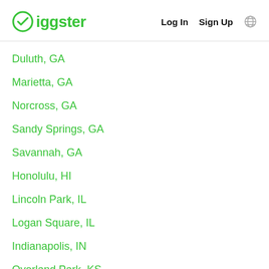Giggster | Log In | Sign Up
Duluth, GA
Marietta, GA
Norcross, GA
Sandy Springs, GA
Savannah, GA
Honolulu, HI
Lincoln Park, IL
Logan Square, IL
Indianapolis, IN
Overland Park, KS
Louisville, KY
New Orleans, LA